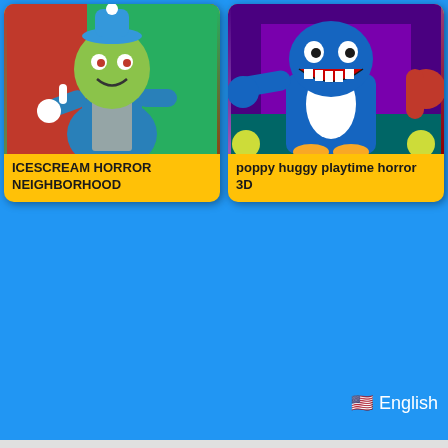[Figure (illustration): Game app card for ICESCREAM HORROR NEIGHBORHOOD showing a green-faced ice cream man character in a red-green background]
ICESCREAM HORROR NEIGHBORHOOD
[Figure (illustration): Game app card for poppy huggy playtime horror 3D showing a blue Huggy Wuggy monster character on a purple background with a red hand]
poppy huggy playtime horror 3D
🇺🇸 English